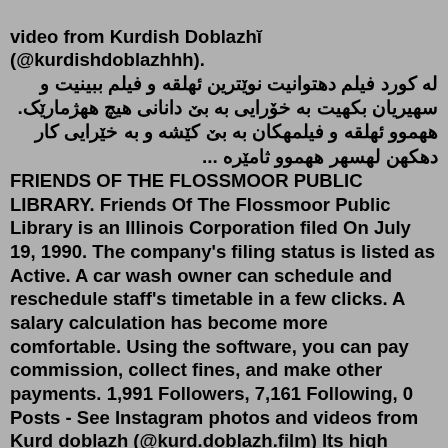video from Kurdish Doblazhi (@kurdishdoblazhhh). له کورد فیلم دەتوانیت نوێترین ئەلقه و فیلم ببینیت و سەریان بکەیت به خۆرایی به بێ دانانی هیچ هەژمارێک. هەموو ئەلقه و فیلمەکان به بێ کێشه و به خێرایی کار ...FRIENDS OF THE FLOSSMOOR PUBLIC LIBRARY. Friends Of The Flossmoor Public Library is an Illinois Corporation filed On July 19, 1990. The company's filing status is listed as Active. A car wash owner can schedule and reschedule staff's timetable in a few clicks. A salary calculation has become more comfortable. Using the software, you can pay commission, collect fines, and make other payments. 1,991 Followers, 7,161 Following, 0 Posts - See Instagram photos and videos from Kurd doblazh (@kurd.doblazh.film) Its high cobalt content increases the steel's attainable hardness and enhances the positive properties of the steel's other alloys Samaa News Contact Number Lahore VG10, 154CM, CPM4, S110V, Maxamet, Rex 121 It's a very polarizing steel T-Rex miner for